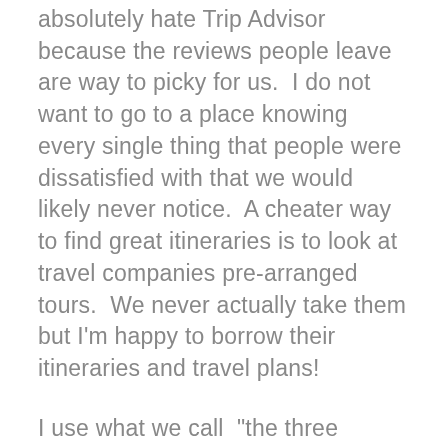absolutely hate Trip Advisor because the reviews people leave are way to picky for us.  I do not want to go to a place knowing every single thing that people were dissatisfied with that we would likely never notice.  A cheater way to find great itineraries is to look at travel companies pre-arranged tours.  We never actually take them but I'm happy to borrow their itineraries and travel plans!
I use what we call  "the three bears" method for our planning.  By this I mean do not plan too much that you don't enjoy anything, or too little that you waste time and miss things, but plan just the right amount so you see the things you want to see and have